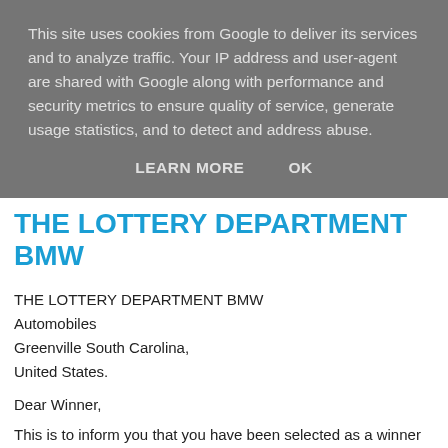This site uses cookies from Google to deliver its services and to analyze traffic. Your IP address and user-agent are shared with Google along with performance and security metrics to ensure quality of service, generate usage statistics, and to detect and address abuse.
LEARN MORE   OK
THE LOTTERY DEPARTMENT BMW
THE LOTTERY DEPARTMENT BMW
Automobiles
Greenville South Carolina,
United States.
Dear Winner,
This is to inform you that you have been selected as a winner for a cash prize of 450,000.00 (four hundred and fifty thousand Great British Pounds) and a brand new BMW 5 Series Car from International programs held on the 28th of